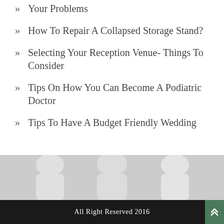Your Problems
How To Repair A Collapsed Storage Stand?
Selecting Your Reception Venue- Things To Consider
Tips On How You Can Become A Podiatric Doctor
Tips To Have A Budget Friendly Wedding
[Figure (photo): Grayscale image band showing human silhouettes or figures in light gray tones]
All Right Reserved 2016